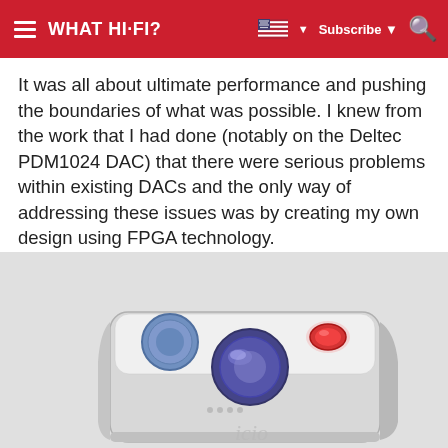WHAT HI-FI?  Subscribe
It was all about ultimate performance and pushing the boundaries of what was possible. I knew from the work that I had done (notably on the Deltec PDM1024 DAC) that there were serious problems within existing DACs and the only way of addressing these issues was by creating my own design using FPGA technology.
What is a DAC anyway?
[Figure (photo): Photo of a compact white/silver DAC device with blue and red control buttons/knobs and LED lighting, viewed from a slight angle above]